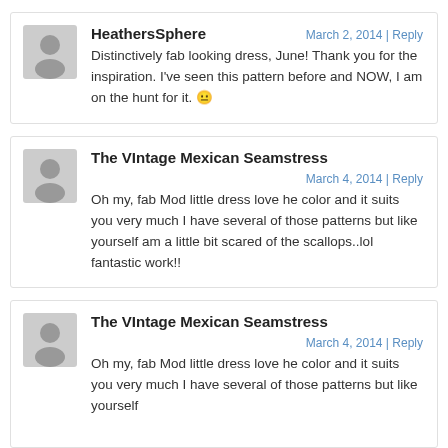HeathersSphere | March 2, 2014 | Reply — Distinctively fab looking dress, June! Thank you for the inspiration. I've seen this pattern before and NOW, I am on the hunt for it. 😐
The VIntage Mexican Seamstress | March 4, 2014 | Reply — Oh my, fab Mod little dress love he color and it suits you very much I have several of those patterns but like yourself am a little bit scared of the scallops..lol fantastic work!!
The VIntage Mexican Seamstress | March 4, 2014 | Reply — Oh my, fab Mod little dress love he color and it suits you very much I have several of those patterns but like yourself